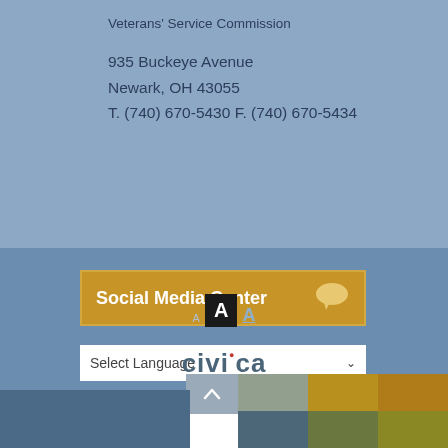Veterans' Service Commission
935 Buckeye Avenue
Newark, OH 43055
T. (740) 670-5430 F. (740) 670-5434
Social Media Center
[Figure (screenshot): Language select dropdown box with 'Select Language' placeholder and a down-arrow chevron]
[Figure (infographic): Font size controls: small A, medium A on black background, large A underlined]
[Figure (logo): Civica software logo with red dot accent]
Low Graphics